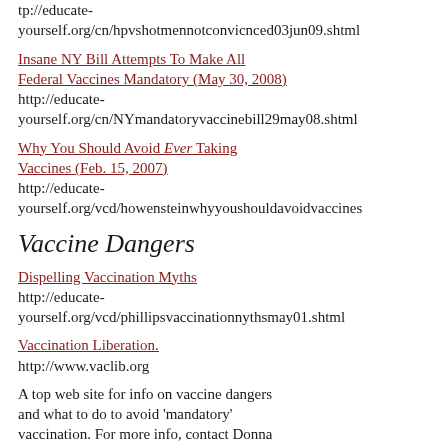tp://educate-yourself.org/cn/hpvshotmennotconvicnced03jun09.shtml
Insane NY Bill Attempts To Make All Federal Vaccines Mandatory (May 30, 2008)
http://educate-yourself.org/cn/NYmandatoryvaccinebill29may08.shtml
Why You Should Avoid Ever Taking Vaccines (Feb. 15, 2007)
http://educate-yourself.org/vcd/howensteinwhyyoushouldavoidvaccines
Vaccine Dangers
Dispelling Vaccination Myths
http://educate-yourself.org/vcd/phillipsvaccinationnythsmay01.shtml
Vaccination Liberation.
http://www.vaclib.org
A top web site for info on vaccine dangers and what to do to avoid 'mandatory' vaccination. For more info, contact Donna